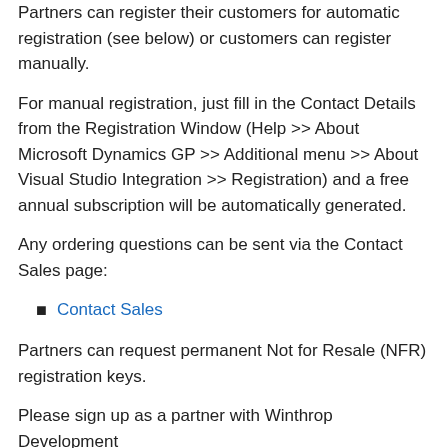Partners can register their customers for automatic registration (see below) or customers can register manually.
For manual registration, just fill in the Contact Details from the Registration Window (Help >> About Microsoft Dynamics GP >> Additional menu >> About Visual Studio Integration >> Registration) and a free annual subscription will be automatically generated.
Any ordering questions can be sent via the Contact Sales page:
Contact Sales
Partners can request permanent Not for Resale (NFR) registration keys.
Please sign up as a partner with Winthrop Development